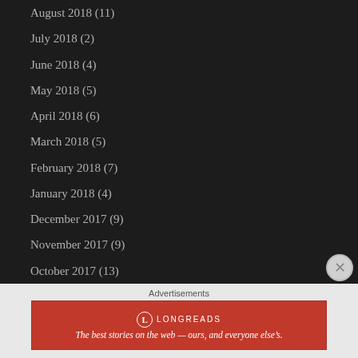August 2018 (11)
July 2018 (2)
June 2018 (4)
May 2018 (5)
April 2018 (6)
March 2018 (5)
February 2018 (7)
January 2018 (4)
December 2017 (9)
November 2017 (9)
October 2017 (13)
September 2017 (7)
August 2017 (13)
July 2017 (17)
June 2017 (12)
May 2017 (16)
Advertisements
[Figure (logo): Longreads advertisement banner with logo and tagline: The best stories on the web — ours, and everyone else's.]